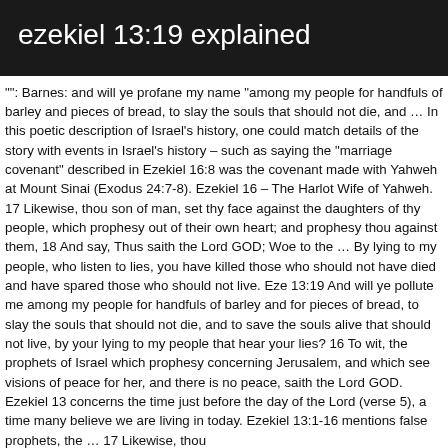ezekiel 13:19 explained
"": Barnes: and will ye profane my name “among my people for handfuls of barley and pieces of bread, to slay the souls that should not die, and … In this poetic description of Israel’s history, one could match details of the story with events in Israel’s history – such as saying the “marriage covenant” described in Ezekiel 16:8 was the covenant made with Yahweh at Mount Sinai (Exodus 24:7-8). Ezekiel 16 – The Harlot Wife of Yahweh. 17 Likewise, thou son of man, set thy face against the daughters of thy people, which prophesy out of their own heart; and prophesy thou against them, 18 And say, Thus saith the Lord GOD; Woe to the … By lying to my people, who listen to lies, you have killed those who should not have died and have spared those who should not live. Eze 13:19 And will ye pollute me among my people for handfuls of barley and for pieces of bread, to slay the souls that should not die, and to save the souls alive that should not live, by your lying to my people that hear your lies? 16 To wit, the prophets of Israel which prophesy concerning Jerusalem, and which see visions of peace for her, and there is no peace, saith the Lord GOD. Ezekiel 13 concerns the time just before the day of the Lord (verse 5), a time many believe we are living in today. Ezekiel 13:1-16 mentions false prophets, the … 17 Likewise, thou